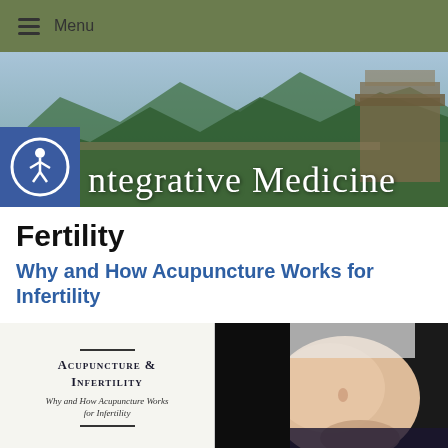Menu
[Figure (illustration): Hero banner showing the Great Wall of China landscape with mountains, overlaid with text 'ntegrative Medicine' and an accessibility icon]
Fertility
Why and How Acupuncture Works for Infertility
[Figure (illustration): Book cover graphic showing 'Acupuncture & Infertility — Why and How Acupuncture Works for Infertility' with decorative lines]
[Figure (photo): Close-up photo of a pregnant woman's belly against a dark background]
8139772677